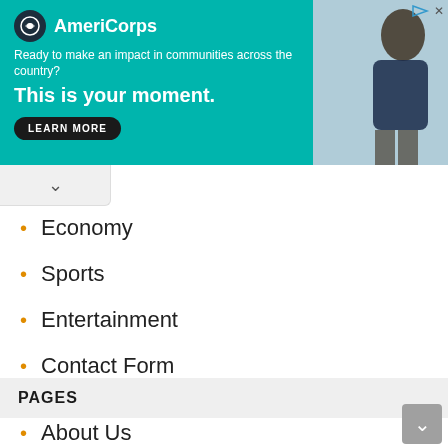[Figure (other): AmeriCorps advertisement banner with teal background. Logo with dark circle icon and 'AmeriCorps' text. Tagline: 'Ready to make an impact in communities across the country?' Headline: 'This is your moment.' Button: 'LEARN MORE'. Photo of person on right side.]
Economy
Sports
Entertainment
Contact Form
PAGES
About Us
DMCA
Privacy Policy
Contact Form